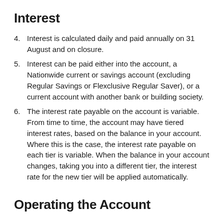Interest
Interest is calculated daily and paid annually on 31 August and on closure.
Interest can be paid either into the account, a Nationwide current or savings account (excluding Regular Savings or Flexclusive Regular Saver), or a current account with another bank or building society.
The interest rate payable on the account is variable. From time to time, the account may have tiered interest rates, based on the balance in your account. Where this is the case, the interest rate payable on each tier is variable. When the balance in your account changes, taking you into a different tier, the interest rate for the new tier will be applied automatically.
Operating the Account